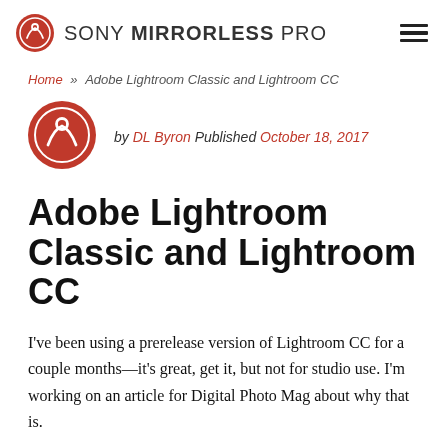SONY MIRRORLESS PRO
Home » Adobe Lightroom Classic and Lightroom CC
[Figure (illustration): Author avatar circle with red background and mountain/camera icon in white]
by DL Byron Published October 18, 2017
Adobe Lightroom Classic and Lightroom CC
I've been using a prerelease version of Lightroom CC for a couple months—it's great, get it, but not for studio use. I'm working on an article for Digital Photo Mag about why that is.